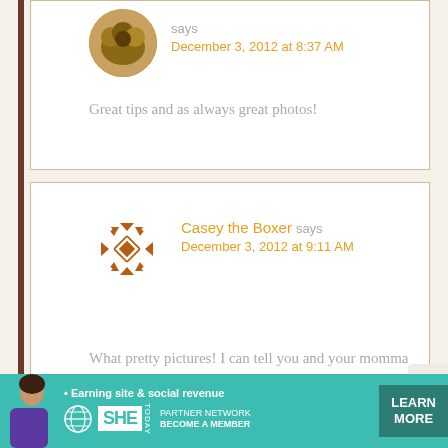[Figure (photo): Circular avatar photo showing animals or people, brownish tones]
says
December 3, 2012 at 8:37 AM
Great tips and as always great photos!
[Figure (illustration): Circular decorative geometric/snowflake-style avatar icon in russet/brown and white for Casey the Boxer]
Casey the Boxer says
December 3, 2012 at 9:11 AM
What pretty pictures! I can tell you and your momma had fun taking them.
[Figure (infographic): SHE Partner Network advertisement banner. Teal background. Text: '• Earning site & social revenue'. SHE TODAY logo with globe icon. PARTNER NETWORK / BECOME A MEMBER text. Green LEARN MORE button.]